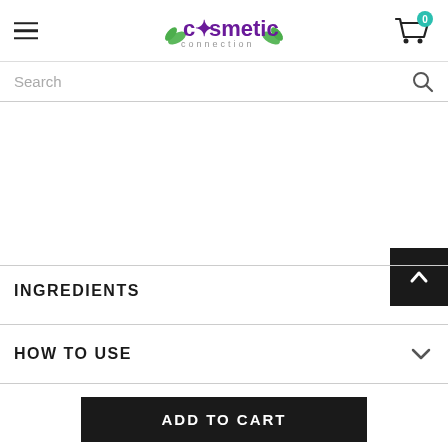cosmetic connection
Search
INGREDIENTS
HOW TO USE
ADD TO CART